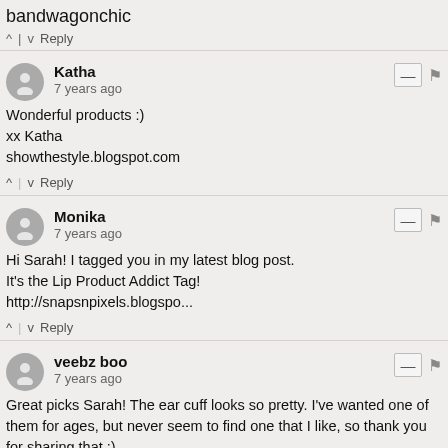bandwagonchic
^ | v  Reply
Katha
7 years ago
Wonderful products :)
xx Katha
showthestyle.blogspot.com
^ | v  Reply
Monika
7 years ago
Hi Sarah! I tagged you in my latest blog post.
It's the Lip Product Addict Tag!
http://snapsnpixels.blogspo...
^ | v  Reply
veebz boo
7 years ago
Great picks Sarah! The ear cuff looks so pretty. I've wanted one of them for ages, but never seem to find one that I like, so thank you for sharing that.:)